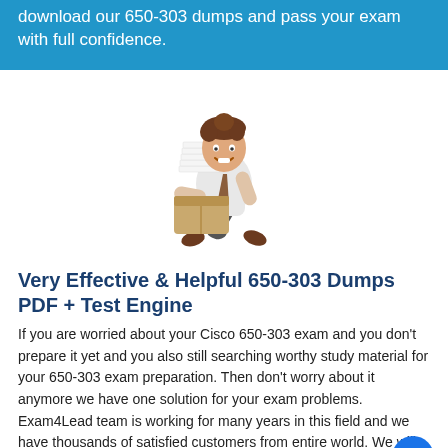download our 650-303 dumps and pass your exam with full confidence.
[Figure (illustration): Cartoon illustration of a businessman running while carrying a large stack of papers/documents on top of a box]
Very Effective & Helpful 650-303 Dumps PDF + Test Engine
If you are worried about your Cisco 650-303 exam and you don't prepare it yet and you also still searching worthy study material for your 650-303 exam preparation. Then don't worry about it anymore we have one solution for your exam problems. Exam4Lead team is working for many years in this field and we have thousands of satisfied customers from entire world. We will provide you exactly